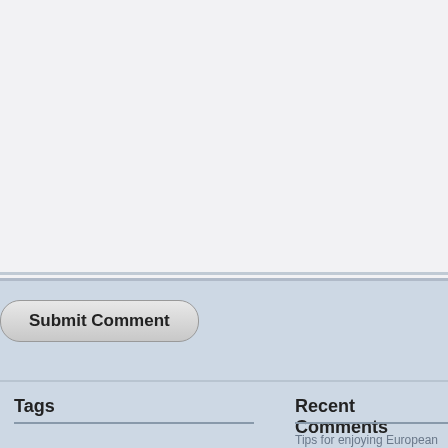[Figure (screenshot): Text area input field (comment box) with light gray background, partially visible at top of page]
Submit Comment
Tags
Recent Comments
Tips for enjoying European Nightlife | Travel Advice Europe on Travel Blog Directory
Gema Cratso on Travel Advice Zagreb
Jakori on Travel Advice Sofia
Jakori on Lake District Travel Advice
David in Norway on Travel Advice Os